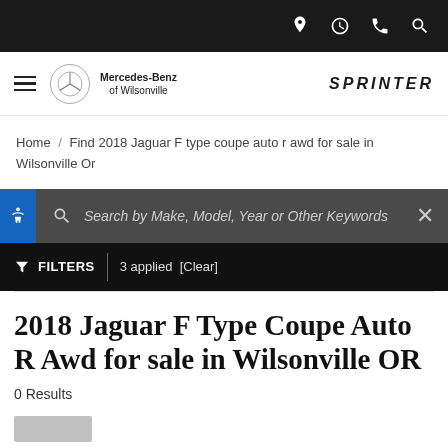[Figure (screenshot): Top navigation bar with black background and white icons: location pin, clock, phone, search]
[Figure (logo): Mercedes-Benz of Wilsonville logo with three-pointed star and Sprinter brand text]
Home / Find 2018 Jaguar F type coupe auto r awd for sale in Wilsonville Or
Search by Make, Model, Year or Other Keywords
FILTERS  |  3 applied  [Clear]
2018 Jaguar F Type Coupe Auto R Awd for sale in Wilsonville OR
0 Results